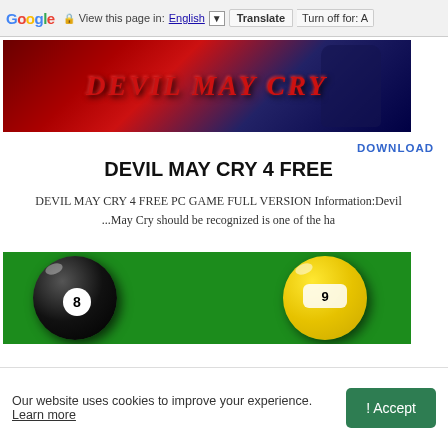Google  View this page in: English [▼]  Translate  Turn off for: A
[Figure (photo): Devil May Cry game banner with red and dark blue background, italic styled title text in red]
DOWNLOAD
DEVIL MAY CRY 4 FREE
DEVIL MAY CRY 4 FREE PC GAME FULL VERSION Information:Devil ...May Cry should be recognized is one of the ha
[Figure (photo): Close-up of billiard balls — a black 8-ball and a yellow 9-ball on a green felt table]
Our website uses cookies to improve your experience. Learn more  ! Accept